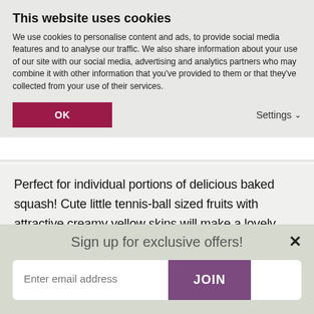This website uses cookies
We use cookies to personalise content and ads, to provide social media features and to analyse our traffic. We also share information about your use of our site with our social media, advertising and analytics partners who may combine it with other information that you've provided to them or that they've collected from your use of their services.
OK
Settings
Perfect for individual portions of delicious baked squash! Cute little tennis-ball sized fruits with attractive creamy yellow skins will make a lovely focal point on your dinner plate. Enjoy heavy crops of Squash 'Buffy Ball' from August to October. This prolific winter squash can produce over 25 fruits per plant
Sign up for exclusive offers!
Enter email address
JOIN